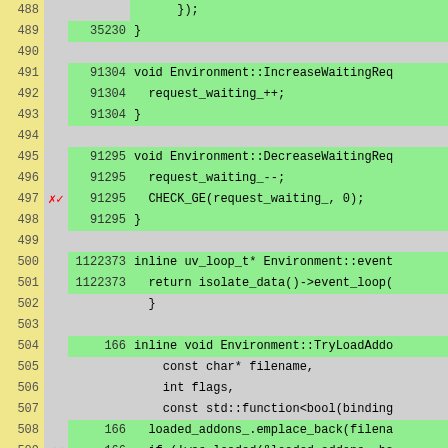[Figure (screenshot): Code coverage view showing C++ source lines 488-513 with line numbers, hit counts, coverage markers, and code content. Green rows indicate covered lines, gray rows indicate uncovered/non-executable lines.]